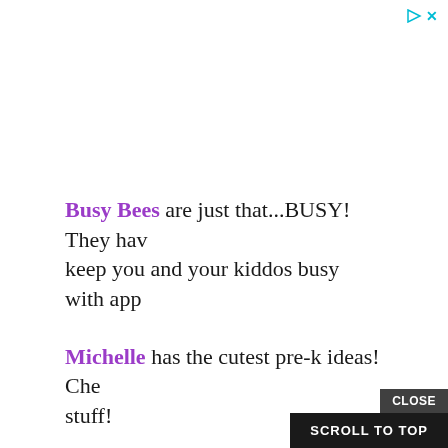[Figure (other): Ad controls: play/triangle icon and X close icon in cyan/teal color, top right corner]
Busy Bees are just that...BUSY! They have keep you and your kiddos busy with appl
Michelle has the cutest pre-k ideas! Che stuff!
Watch out for the CUTEST Johnny Apples from Abby at The Inspired A
[Figure (screenshot): CLOSE button overlay and SCROLL TO TOP button at bottom right]